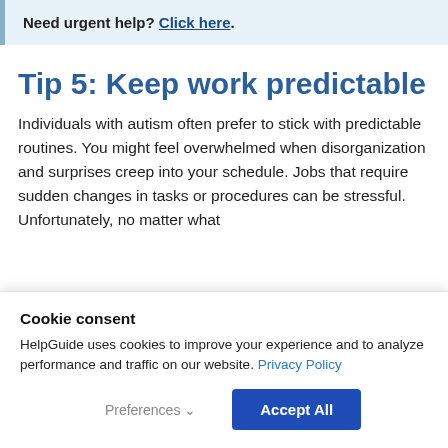Need urgent help? Click here.
Tip 5: Keep work predictable
Individuals with autism often prefer to stick with predictable routines. You might feel overwhelmed when disorganization and surprises creep into your schedule. Jobs that require sudden changes in tasks or procedures can be stressful. Unfortunately, no matter what
Cookie consent
HelpGuide uses cookies to improve your experience and to analyze performance and traffic on our website. Privacy Policy
Preferences  Accept All